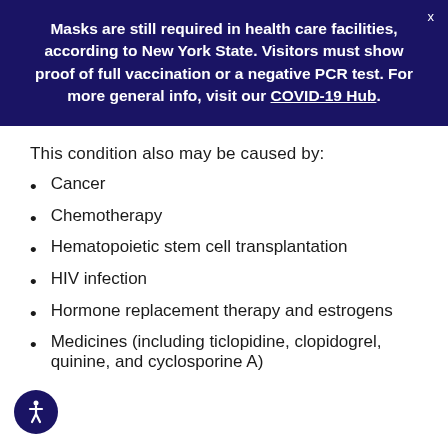Masks are still required in health care facilities, according to New York State. Visitors must show proof of full vaccination or a negative PCR test. For more general info, visit our COVID-19 Hub.
This condition also may be caused by:
Cancer
Chemotherapy
Hematopoietic stem cell transplantation
HIV infection
Hormone replacement therapy and estrogens
Medicines (including ticlopidine, clopidogrel, quinine, and cyclosporine A)